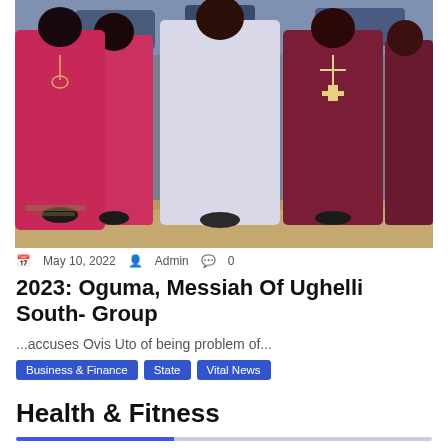[Figure (photo): Group of people in religious robes walking outdoors. Central figure in white robe flanked by figures in magenta/crimson and dark maroon robes. One figure wears a large cross necklace.]
May 10, 2022   Admin   0
2023: Oguma, Messiah Of Ughelli South- Group
...accuses Ovis Uto of being problem of...
Business & Finance   State   Vital News
Health & Fitness